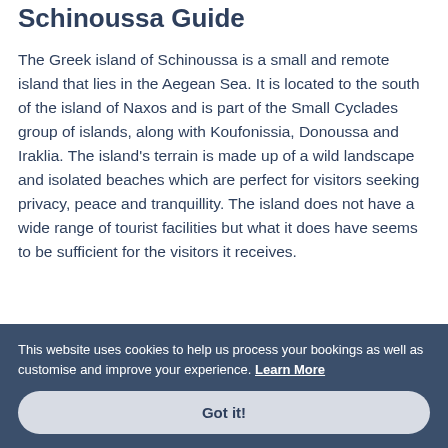Schinoussa Guide
The Greek island of Schinoussa is a small and remote island that lies in the Aegean Sea. It is located to the south of the island of Naxos and is part of the Small Cyclades group of islands, along with Koufonissia, Donoussa and Iraklia. The island's terrain is made up of a wild landscape and isolated beaches which are perfect for visitors seeking privacy, peace and tranquillity. The island does not have a wide range of tourist facilities but what it does have seems to be sufficient for the visitors it receives.
This website uses cookies to help us process your bookings as well as customise and improve your experience. Learn More
Got it!